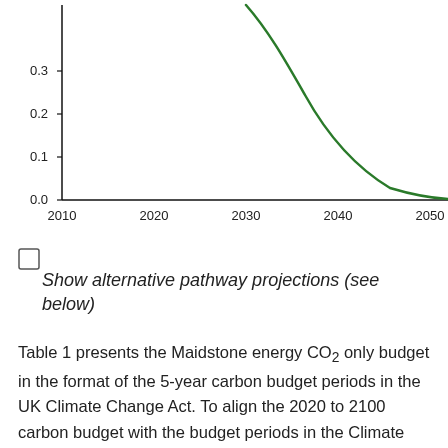[Figure (continuous-plot): Exponentially decaying green curve showing CO2 pathway from approximately 2010 to 2055+. Y-axis labeled with values 0.0, 0.1, 0.2, 0.3. X-axis shows years 2010, 2020, 2030, 2040, 2050. Curve starts high (above 0.3) near 2025 and rapidly decays toward 0.0 by 2050+.]
Show alternative pathway projections (see below)
Table 1 presents the Maidstone energy CO2 only budget in the format of the 5-year carbon budget periods in the UK Climate Change Act. To align the 2020 to 2100 carbon budget with the budget periods in the Climate Change Act we have included estimated CO2 emissions from...